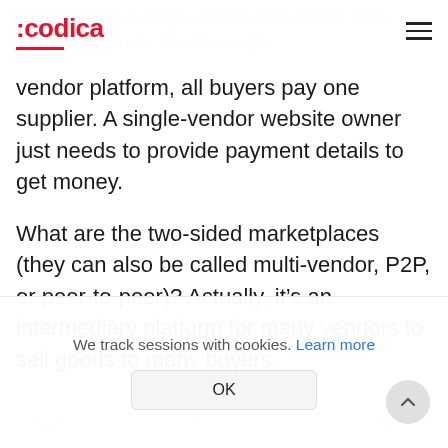:codica
payments on a single-vendor store easier than on a multi-vendor. On the single-vendor platform, all buyers pay one supplier. A single-vendor website owner just needs to provide payment details to get money.
What are the two-sided marketplaces (they can also be called multi-vendor, P2P, or peer-to-peer)? Actually, it's an intermediary platform for many vendors to sell goods to many buyers.
[Figure (illustration): Partially visible diagram showing buyer/seller marketplace illustration]
We track sessions with cookies. Learn more
OK